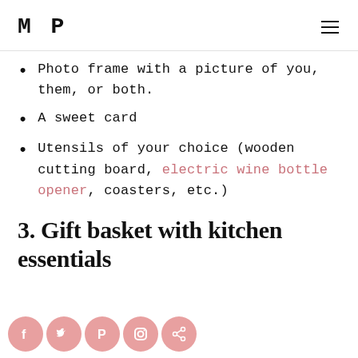MP
Photo frame with a picture of you, them, or both.
A sweet card
Utensils of your choice (wooden cutting board, electric wine bottle opener, coasters, etc.)
3. Gift basket with kitchen essentials